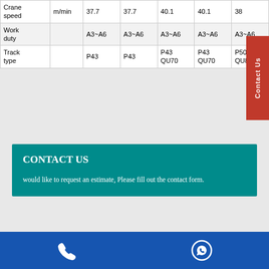| Crane speed | m/min | 37.7 | 37.7 | 40.1 | 40.1 | 38 |
| Work duty |  | A3~A6 | A3~A6 | A3~A6 | A3~A6 | A3~A6 |
| Track type |  | P43 | P43 | P43 QU70 | P43 QU70 | P50 QU80 |
CONTACT US
would like to request an estimate, Please fill out the contact form.
* Your Name